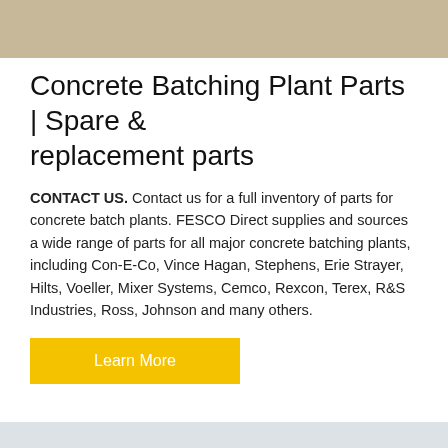[Figure (photo): Top portion of a concrete batching plant or industrial equipment image, showing beige/tan coloring at top of page]
Concrete Batching Plant Parts | Spare & replacement parts
CONTACT US. Contact us for a full inventory of parts for concrete batch plants. FESCO Direct supplies and sources a wide range of parts for all major concrete batching plants, including Con-E-Co, Vince Hagan, Stephens, Erie Strayer, Hilts, Voeller, Mixer Systems, Cemco, Rexcon, Terex, R&S Industries, Ross, Johnson and many others.
[Figure (photo): Photograph of a concrete batching plant facility showing a red and black drum mixer on the left and a large dark grey aggregate bin/storage structure on the right, with a grey sky background. A dark circular scroll-to-top button with an upward arrow is visible in the bottom right corner.]